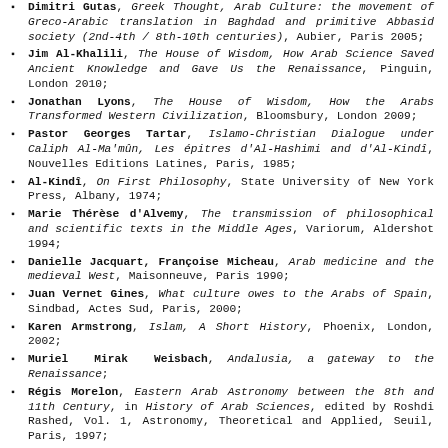Dimitri Gutas, Greek Thought, Arab Culture: the movement of Greco-Arabic translation in Baghdad and primitive Abbasid society (2nd-4th / 8th-10th centuries), Aubier, Paris 2005;
Jim Al-Khalili, The House of Wisdom, How Arab Science Saved Ancient Knowledge and Gave Us the Renaissance, Pinguin, London 2010;
Jonathan Lyons, The House of Wisdom, How the Arabs Transformed Western Civilization, Bloomsbury, London 2009;
Pastor Georges Tartar, Islamo-Christian Dialogue under Caliph Al-Ma'mûn, Les épitres d'Al-Hashimi and d'Al-Kindî, Nouvelles Editions Latines, Paris, 1985;
Al-Kindî, On First Philosophy, State University of New York Press, Albany, 1974;
Marie Thérèse d'Alvemy, The transmission of philosophical and scientific texts in the Middle Ages, Variorum, Aldershot 1994;
Danielle Jacquart, Françoise Micheau, Arab medicine and the medieval West, Maisonneuve, Paris 1990;
Juan Vernet Gines, What culture owes to the Arabs of Spain, Sindbad, Actes Sud, Paris, 2000;
Karen Armstrong, Islam, A Short History, Phoenix, London, 2002;
Muriel Mirak Weisbach, Andalusia, a gateway to the Renaissance;
Régis Morelon, Eastern Arab Astronomy between the 8th and 11th Century, in History of Arab Sciences, edited by Roshdi Rashed, Vol. 1, Astronomy, Theoretical and Applied, Seuil, Paris, 1997;
George Saliba, Planetary Theories in Arab Astronomy after the 11th Century, in History of Arab Sciences, edited by Roshdi Rashed, Vol. 1, Astronomy, Theoretical and Applied, Seuil, Paris,